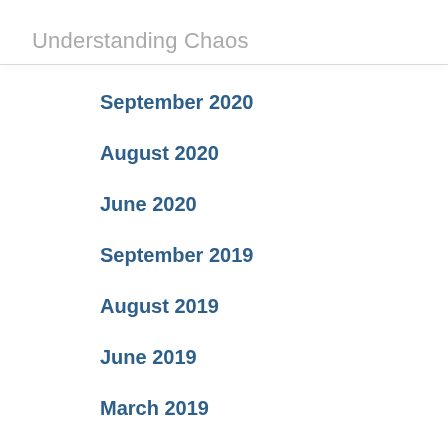Understanding Chaos
September 2020
August 2020
June 2020
September 2019
August 2019
June 2019
March 2019
February 2019
January 2019
December 2018